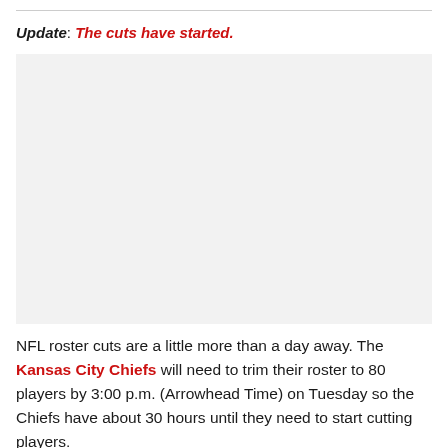Update: The cuts have started.
[Figure (photo): Image placeholder area (light gray), likely a photo related to Kansas City Chiefs roster cuts]
NFL roster cuts are a little more than a day away. The Kansas City Chiefs will need to trim their roster to 80 players by 3:00 p.m. (Arrowhead Time) on Tuesday so the Chiefs have about 30 hours until they need to start cutting players.